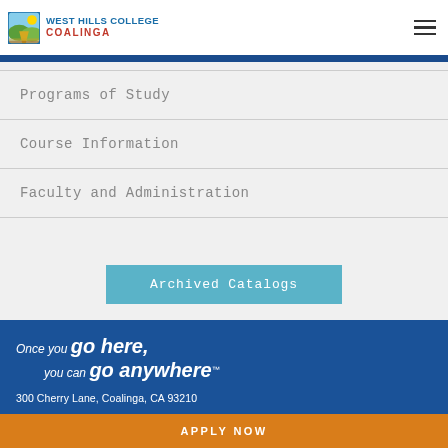West Hills College Coalinga
Programs of Study
Course Information
Faculty and Administration
Archived Catalogs
Once you go here, you can go anywhere™
300 Cherry Lane, Coalinga, CA 93210
APPLY NOW